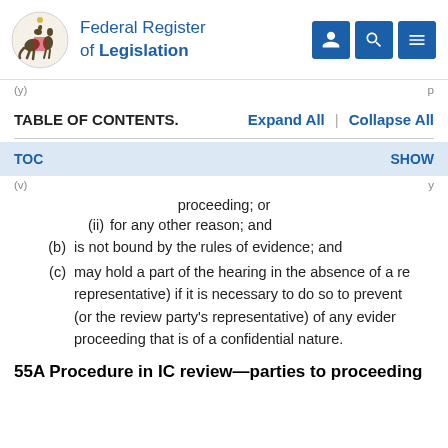Federal Register of Legislation
(y) ... p
TABLE OF CONTENTS.    Expand All  |  Collapse All
TOC    SHOW
(v) ... y
proceeding; or
(ii)  for any other reason; and
(b)  is not bound by the rules of evidence; and
(c)  may hold a part of the hearing in the absence of a representative) if it is necessary to do so to prevent (or the review party's representative) of any evidence proceeding that is of a confidential nature.
55A  Procedure in IC review—parties to proceeding